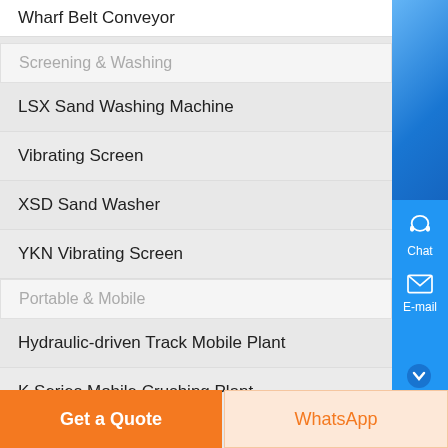Wharf Belt Conveyor
Screening & Washing
LSX Sand Washing Machine
Vibrating Screen
XSD Sand Washer
YKN Vibrating Screen
Portable & Mobile
Hydraulic-driven Track Mobile Plant
K Series Mobile Crushing Plant
Get a Quote
WhatsApp